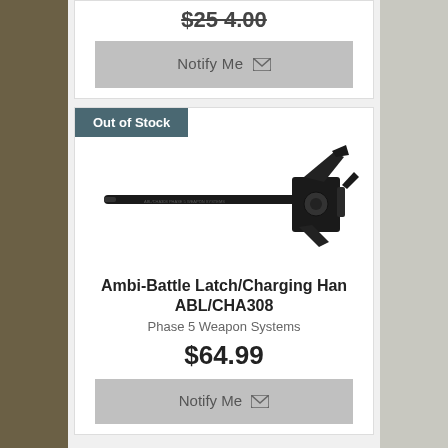$254.00
Notify Me
Out of Stock
[Figure (photo): Ambi-Battle Latch charging handle product photo on white background — a long black cylindrical rod with a mechanical latch/handle assembly on the right end]
Ambi-Battle Latch/Charging Han ABL/CHA308
Phase 5 Weapon Systems
$64.99
Notify Me